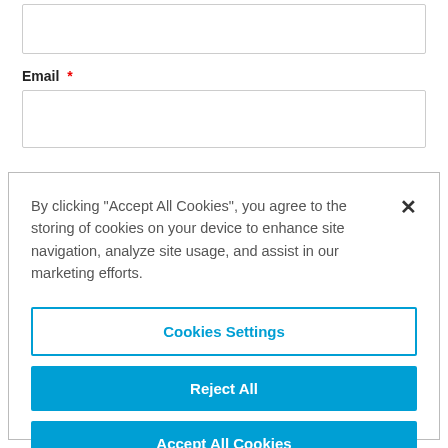(partial label cut off at top)
[Figure (screenshot): Empty text input box for a form field]
Email *
[Figure (screenshot): Empty text input box for Email field]
By clicking “Accept All Cookies”, you agree to the storing of cookies on your device to enhance site navigation, analyze site usage, and assist in our marketing efforts.
Cookies Settings
Reject All
Accept All Cookies